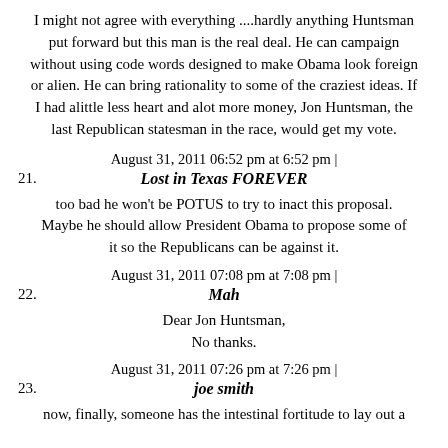I might not agree with everything ....hardly anything Huntsman put forward but this man is the real deal. He can campaign without using code words designed to make Obama look foreign or alien. He can bring rationality to some of the craziest ideas. If I had alittle less heart and alot more money, Jon Huntsman, the last Republican statesman in the race, would get my vote.
August 31, 2011 06:52 pm at 6:52 pm |
21. Lost in Texas FOREVER
too bad he won't be POTUS to try to inact this proposal. Maybe he should allow President Obama to propose some of it so the Republicans can be against it.
August 31, 2011 07:08 pm at 7:08 pm |
22. Mah
Dear Jon Huntsman,
No thanks.
August 31, 2011 07:26 pm at 7:26 pm |
23. joe smith
now, finally, someone has the intestinal fortitude to lay out a